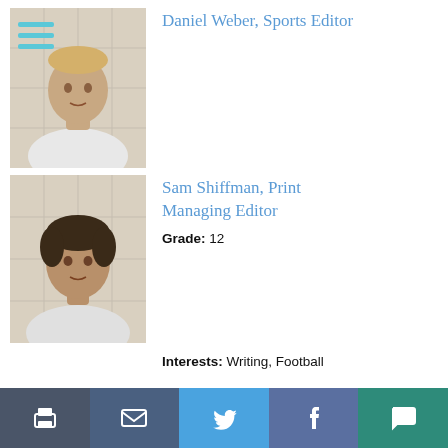[Figure (photo): Headshot of Daniel Weber against a tile wall background, young man with light hair wearing white t-shirt]
Daniel Weber, Sports Editor
[Figure (photo): Headshot of Sam Shiffman against a tile wall background, young man with dark hair wearing white t-shirt]
Sam Shiffman, Print Managing Editor
Grade: 12
Interests: Writing, Football
Print | Mail | Twitter | Facebook | Comment